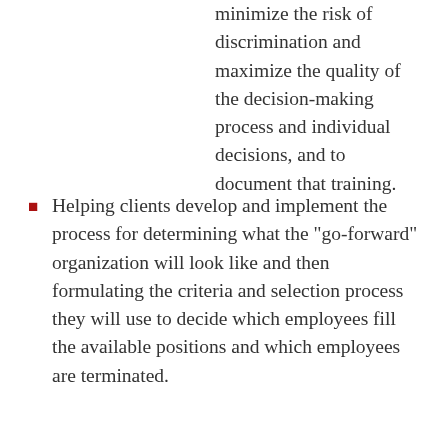minimize the risk of discrimination and maximize the quality of the decision-making process and individual decisions, and to document that training.
Helping clients develop and implement the process for determining what the "go-forward" organization will look like and then formulating the criteria and selection process they will use to decide which employees fill the available positions and which employees are terminated.